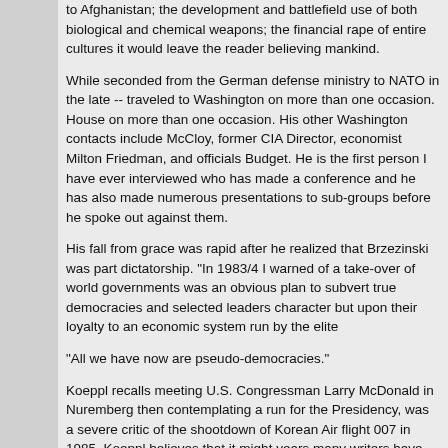to Afghanistan; the development and battlefield use of both biological and chemical weapons; the financial rape of entire cultures it would leave the reader believing mankind.
While seconded from the German defense ministry to NATO in the late -- traveled to Washington on more than one occasion. House on more than one occasion. His other Washington contacts include McCloy, former CIA Director, economist Milton Friedman, and officials Budget. He is the first person I have ever interviewed who has made a conference and he has also made numerous presentations to sub-groups before he spoke out against them.
His fall from grace was rapid after he realized that Brzezinski was part dictatorship. "In 1983/4 I warned of a take-over of world governments was an obvious plan to subvert true democracies and selected leaders character but upon their loyalty to an economic system run by the elite
"All we have now are pseudo-democracies."
Koeppl recalls meeting U.S. Congressman Larry McDonald in Nuremberg then contemplating a run for the Presidency, was a severe critic of the shootdown of Korean Air flight 007 in 1985. Koeppl believes that it might years many writers have made these allegations about 007 and the far believes that an entire plane full of passengers would be destroyed to the value placed on human life by the powers that be.